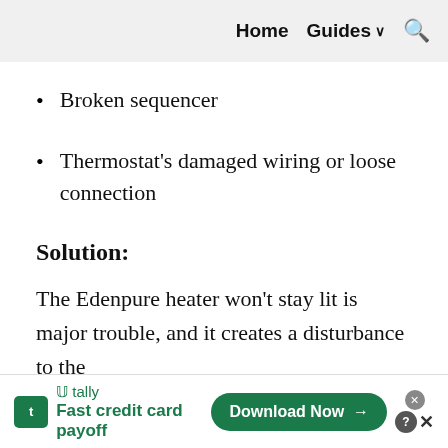Home  Guides  (search)
Broken sequencer
Thermostat's damaged wiring or loose connection
Solution:
The Edenpure heater won't stay lit is major trouble, and it creates a disturbance to the
[Figure (other): Advertisement banner: Tally app – Fast credit card payoff. Download Now button.]